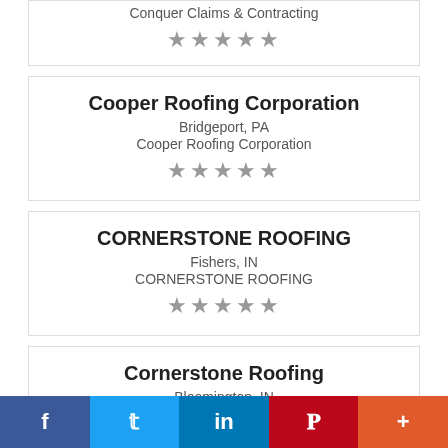Conquer Claims & Contracting
★★★★★
Cooper Roofing Corporation
Bridgeport, PA
Cooper Roofing Corporation
★★★★★
CORNERSTONE ROOFING
Fishers, IN
CORNERSTONE ROOFING
★★★★★
Cornerstone Roofing
Bloomington, IN
Cornerstone Roofing